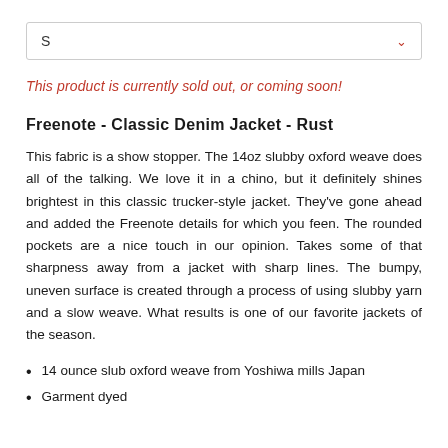[Figure (screenshot): Dropdown select box showing size 'S' selected with a red chevron arrow on the right]
This product is currently sold out, or coming soon!
Freenote - Classic Denim Jacket - Rust
This fabric is a show stopper. The 14oz slubby oxford weave does all of the talking. We love it in a chino, but it definitely shines brightest in this classic trucker-style jacket. They've gone ahead and added the Freenote details for which you feen. The rounded pockets are a nice touch in our opinion. Takes some of that sharpness away from a jacket with sharp lines. The bumpy, uneven surface is created through a process of using slubby yarn and a slow weave. What results is one of our favorite jackets of the season.
14 ounce slub oxford weave from Yoshiwa mills Japan
Garment dyed